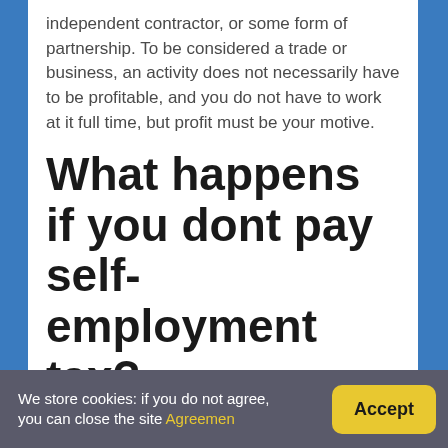independent contractor, or some form of partnership. To be considered a trade or business, an activity does not necessarily have to be profitable, and you do not have to work at it full time, but profit must be your motive.
What happens if you dont pay self-employment tax?
First, the IRS charges you a failure-to-file penalty. The penalty is 5% per month on the amount of taxes you owe, to a maximum of 25% after five
We store cookies: if you do not agree, you can close the site Agreemen